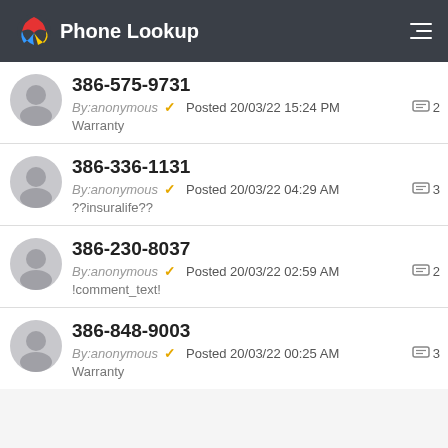Phone Lookup
386-575-9731 | By:anonymous | Posted 20/03/22 15:24 PM | 2 comments | Warranty
386-336-1131 | By:anonymous | Posted 20/03/22 04:29 AM | 3 comments | ??insuralife??
386-230-8037 | By:anonymous | Posted 20/03/22 02:59 AM | 2 comments | !comment_text!
386-848-9003 | By:anonymous | Posted 20/03/22 00:25 AM | 3 comments | Warranty